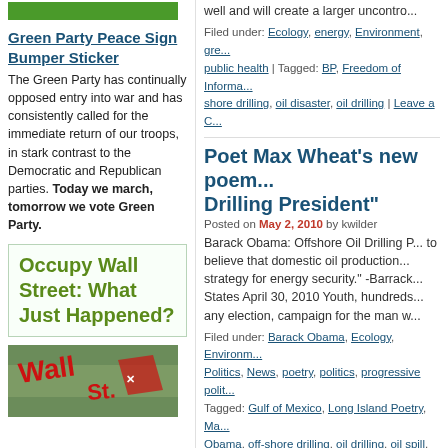well and will create a larger uncontro...
Filed under: Ecology, energy, Environment, gre... public health | Tagged: BP, Freedom of Informa... shore drilling, oil disaster, oil drilling | Leave a C...
Green Party Peace Sign Bumper Sticker
The Green Party has continually opposed entry into war and has consistently called for the immediate return of our troops, in stark contrast to the Democratic and Republican parties. Today we march, tomorrow we vote Green Party.
Occupy Wall Street: What Just Happened?
[Figure (photo): Wall Street protest image with red text]
Poet Max Wheat's new poem... Drilling President"
Posted on May 2, 2010 by kwilder
Barack Obama: Offshore Oil Drilling P... to believe that domestic oil production... strategy for energy security." -Barrack... States April 30, 2010 Youth, hundreds... any election, campaign for the man w...
Filed under: Barack Obama, Ecology, Environm... Politics, News, poetry, politics, progressive polit... Tagged: Gulf of Mexico, Long Island Poetry, Ma... Obama, off-shore drilling, oil drilling, oil spill, Pr...
Biden vs. Palin Vice Presidenti...
Posted on October 2, 2008 by iwilder
KW: Live blogging from the debate. h...